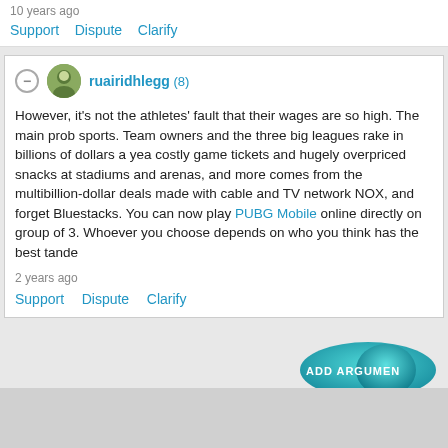10 years ago
Support   Dispute   Clarify
ruairidhlegg (8)
However, it's not the athletes' fault that their wages are so high. The main prob sports. Team owners and the three big leagues rake in billions of dollars a yea costly game tickets and hugely overpriced snacks at stadiums and arenas, and more comes from the multibillion-dollar deals made with cable and TV network NOX, and forget Bluestacks. You can now play PUBG Mobile online directly or group of 3. Whoever you choose depends on who you think has the best tande
2 years ago
Support   Dispute   Clarify
[Figure (other): ADD ARGUMENT button with speech bubble graphic in teal/cyan gradient]
Browse More Deba
Popular Debates:   After School Activites   Social Netwo